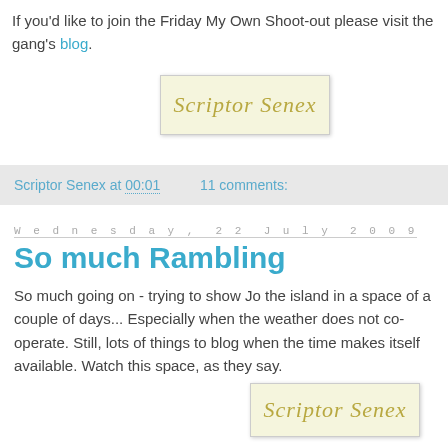If you'd like to join the Friday My Own Shoot-out please visit the gang's blog.
[Figure (illustration): Handwritten cursive signature reading 'Scriptor Senex' on a cream/yellowish background with a light border]
Scriptor Senex at 00:01   11 comments:
Wednesday, 22 July 2009
So much Rambling
So much going on - trying to show Jo the island in a space of a couple of days... Especially when the weather does not co-operate. Still, lots of things to blog when the time makes itself available. Watch this space, as they say.
[Figure (illustration): Handwritten cursive signature reading 'Scriptor Senex' on a cream/yellowish background with a light border]